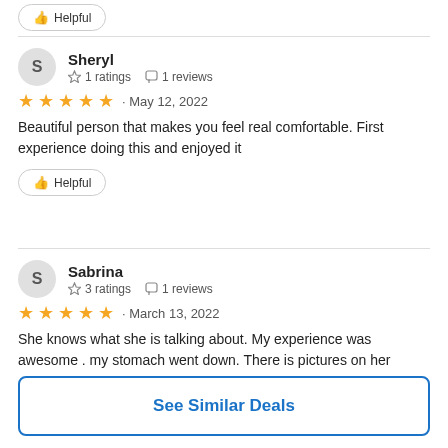👍 Helpful
Sheryl
☆ 1 ratings  ☐ 1 reviews
★★★★★ · May 12, 2022
Beautiful person that makes you feel real comfortable. First experience doing this and enjoyed it
👍 Helpful
Sabrina
☆ 3 ratings  ☐ 1 reviews
★★★★★ · March 13, 2022
She knows what she is talking about. My experience was awesome . my stomach went down. There is pictures on her
See Similar Deals